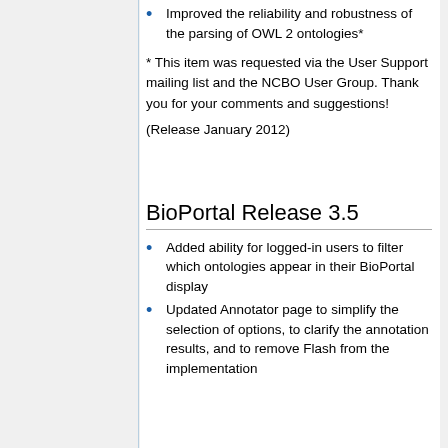Improved the reliability and robustness of the parsing of OWL 2 ontologies*
* This item was requested via the User Support mailing list and the NCBO User Group. Thank you for your comments and suggestions!
(Release January 2012)
BioPortal Release 3.5
Added ability for logged-in users to filter which ontologies appear in their BioPortal display
Updated Annotator page to simplify the selection of options, to clarify the annotation results, and to remove Flash from the implementation